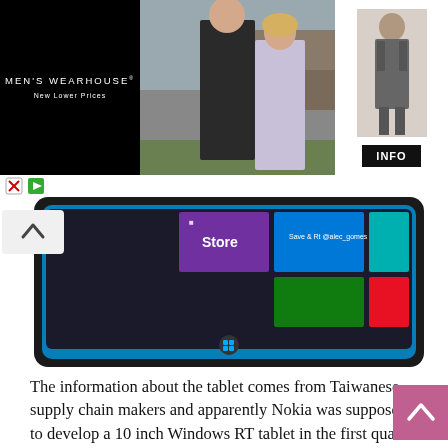[Figure (photo): Men's Wearhouse advertisement banner showing a couple in formal wear and a man in a suit, with INFO button]
[Figure (screenshot): Windows RT tablet device showing the Windows Store and app tiles on screen]
The information about the tablet comes from Taiwanese supply chain makers and apparently Nokia was supposed to develop a 10 inch Windows RT tablet in the first quarter of the year. That model was based on the Qualcomm S4 CPU and Compal was to take ODM production under its wing. They also had to make 200k, test units to be shipped to the market. The problem came when Microsoft announced Surface and they let Microsoft experiment with that product, for a while, with Nokia focusing on smartphones.